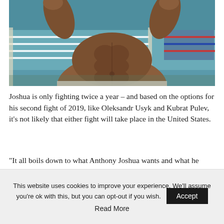[Figure (photo): A boxer (Anthony Joshua) with a muscular torso displayed, arms raised, standing in front of a boxing ring with ropes visible in the background in a gym with teal/blue walls.]
Joshua is only fighting twice a year – and based on the options for his second fight of 2019, like Oleksandr Usyk and Kubrat Pulev, it's not likely that either fight will take place in the United States.
“It all boils down to what Anthony Joshua wants and what he believes in,” Leonard told SunSport.
This website uses cookies to improve your experience. We'll assume you're ok with this, but you can opt-out if you wish.   Accept
Read More